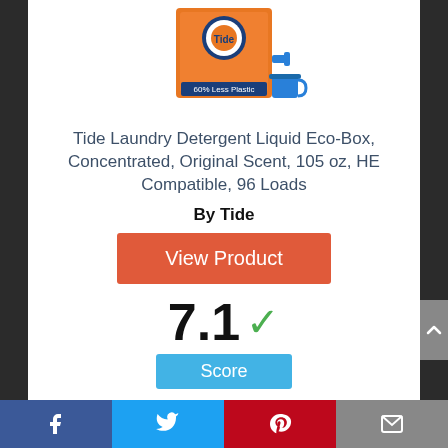[Figure (photo): Tide Laundry Detergent Liquid Eco-Box product image — orange box with Tide logo and a blue spout/cup, labeled '60% Less Plastic']
Tide Laundry Detergent Liquid Eco-Box, Concentrated, Original Scent, 105 oz, HE Compatible, 96 Loads
By Tide
View Product
7.1 ✓ Score
Facebook | Twitter | Pinterest | Email